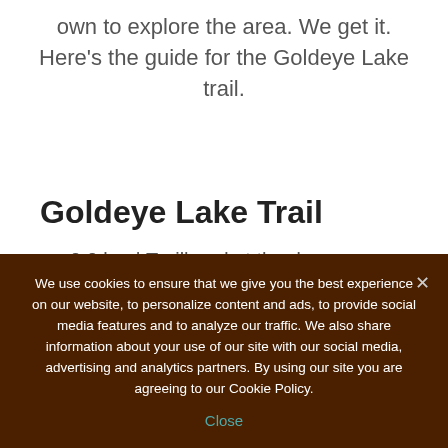own to explore the area. We get it. Here's the guide for the Goldeye Lake trail.
Goldeye Lake Trail
0.0 km | Trailhead at the day use area
0.3 km | Fire Guard for the Goldeye Centre
0.4 km | Goldeye Centre dock and stairs
We use cookies to ensure that we give you the best experience on our website, to personalize content and ads, to provide social media features and to analyze our traffic. We also share information about your use of our site with our social media, advertising and analytics partners. By using our site you are agreeing to our Cookie Policy.
Close